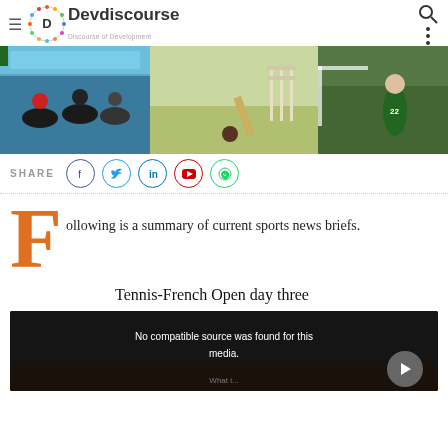Devdiscourse — Discourse of Development
[Figure (photo): Sports banner showing cyclists racing, cricket stumps on a pitch, and a football/soccer player in green kit]
SHARE
Following is a summary of current sports news briefs.
Tennis-French Open day three
[Figure (screenshot): Video player showing 'No compatible source was found for this media.' message on dark background with scroll-up button]